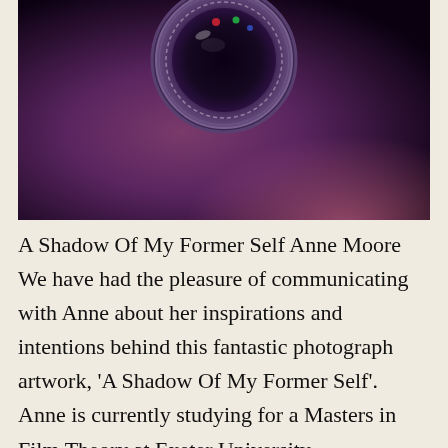[Figure (photo): Close-up photograph of a camera lens with purple and dark tones, bokeh effect, colorful aperture reflections visible at the top of the lens.]
A Shadow Of My Former Self Anne Moore We have had the pleasure of communicating with Anne about her inspirations and intentions behind this fantastic photograph artwork, 'A Shadow Of My Former Self'. Anne is currently studying for a Masters in Film Theory at Exeter University,